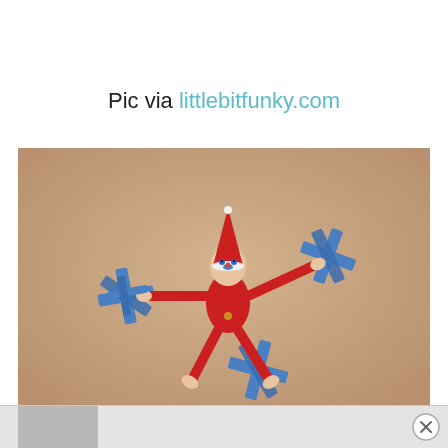Pic via littlebitfunky.com
[Figure (photo): An Elf on the Shelf toy doll dressed in red with a white collar, taped spread-eagle to a tan/beige surface using blue painter's tape forming X/asterisk shapes at the hands and feet, with the elf appearing to be held down like a prisoner or Vitruvian man pose.]
Footer bar with close button